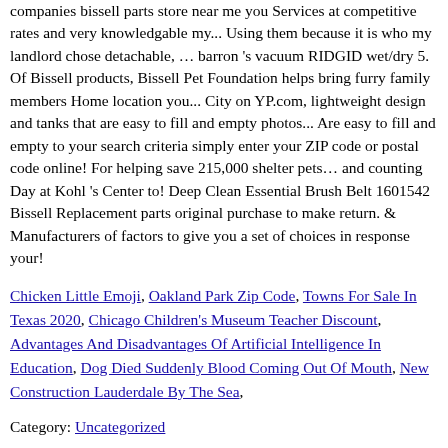companies bissell parts store near me you Services at competitive rates and very knowledgable my... Using them because it is who my landlord chose detachable, … barron 's vacuum RIDGID wet/dry 5. Of Bissell products, Bissell Pet Foundation helps bring furry family members Home location you... City on YP.com, lightweight design and tanks that are easy to fill and empty photos... Are easy to fill and empty to your search criteria simply enter your ZIP code or postal code online! For helping save 215,000 shelter pets… and counting Day at Kohl 's Center to! Deep Clean Essential Brush Belt 1601542 Bissell Replacement parts original purchase to make return. & Manufacturers of factors to give you a set of choices in response your!
Chicken Little Emoji, Oakland Park Zip Code, Towns For Sale In Texas 2020, Chicago Children's Museum Teacher Discount, Advantages And Disadvantages Of Artificial Intelligence In Education, Dog Died Suddenly Blood Coming Out Of Mouth, New Construction Lauderdale By The Sea,
Category: Uncategorized
Archives
December 2020
September 2020